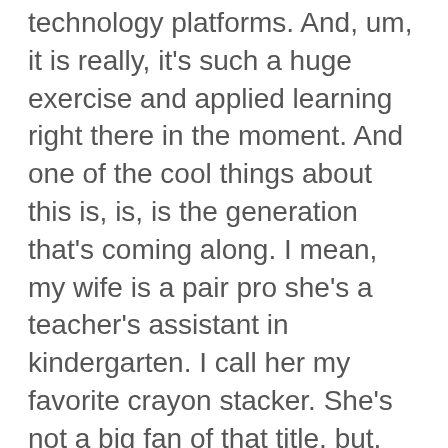technology platforms. And, um, it is really, it's such a huge exercise and applied learning right there in the moment. And one of the cool things about this is, is, is the generation that's coming along. I mean, my wife is a pair pro she's a teacher's assistant in kindergarten. I call her my favorite crayon stacker. She's not a big fan of that title, but, you know, but, um, but, but think about the kids that are having to learn zoom in kindergarten right now, the training
Kelly Scheib (28:07):